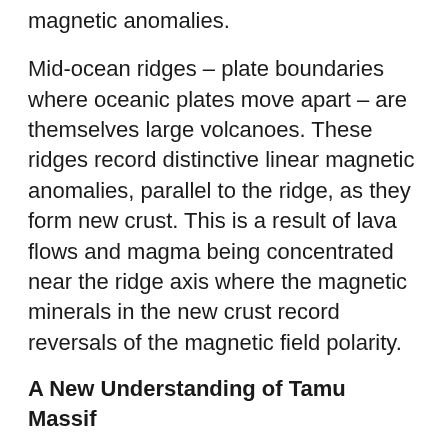magnetic anomalies.
Mid-ocean ridges – plate boundaries where oceanic plates move apart – are themselves large volcanoes. These ridges record distinctive linear magnetic anomalies, parallel to the ridge, as they form new crust. This is a result of lava flows and magma being concentrated near the ridge axis where the magnetic minerals in the new crust record reversals of the magnetic field polarity.
A New Understanding of Tamu Massif
Linear magnetic anomalies formed by the three ridges had previously been found around Tamu Massif, but it was unclear where they stopped within the volcano. A paper published in 2013 by Sager and colleagues concluded that Tamu Massif is an enormous shield